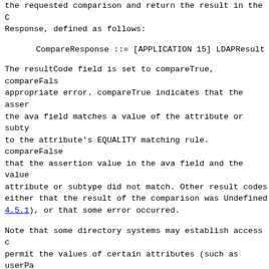the requested comparison and return the result in the CompareResponse, defined as follows:
The resultCode field is set to compareTrue, compareFalse, or an appropriate error. compareTrue indicates that the assertion value in the ava field matches a value of the attribute or subtype according to the attribute's EQUALITY matching rule. compareFalse indicates that the assertion value in the ava field and the values of the attribute or subtype did not match. Other result codes indicate either that the result of the comparison was Undefined (see Section 4.5.1), or that some error occurred.
Note that some directory systems may establish access controls that permit the values of certain attributes (such as userPassword) to be compared but not interrogated by other means.
4.11. Abandon Operation
The function of the Abandon Operation is to allow a client to request that the server abandon an outstanding operation. The AbandonRequest is defined as follows:
The MessageID is that of an operation which was requested on this LDAP association. The abandon request itself has its own message id. This is distinct from the id of the earlier operation being